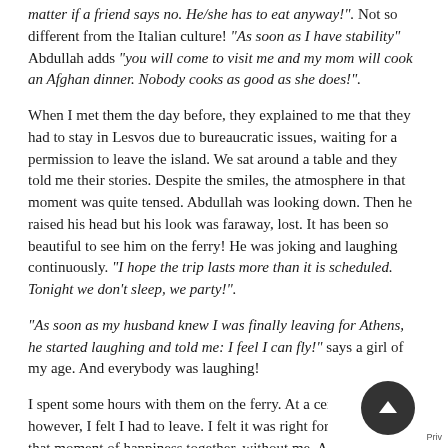matter if a friend says no. He/she has to eat anyway!". Not so different from the Italian culture! "As soon as I have stability" Abdullah adds "you will come to visit me and my mom will cook an Afghan dinner. Nobody cooks as good as she does!".
When I met them the day before, they explained to me that they had to stay in Lesvos due to bureaucratic issues, waiting for a permission to leave the island. We sat around a table and they told me their stories. Despite the smiles, the atmosphere in that moment was quite tensed. Abdullah was looking down. Then he raised his head but his look was faraway, lost. It has been so beautiful to see him on the ferry! He was joking and laughing continuously. "I hope the trip lasts more than it is scheduled. Tonight we don't sleep, we party!".
"As soon as my husband knew I was finally leaving for Athens, he started laughing and told me: I feel I can fly!" says a girl of my age. And everybody was laughing!
I spent some hours with them on the ferry. At a certain time, however, I felt I had to leave. I felt it was right for them to enjoy that moment of happiness together, without me. After insisting for a while, they let me go.